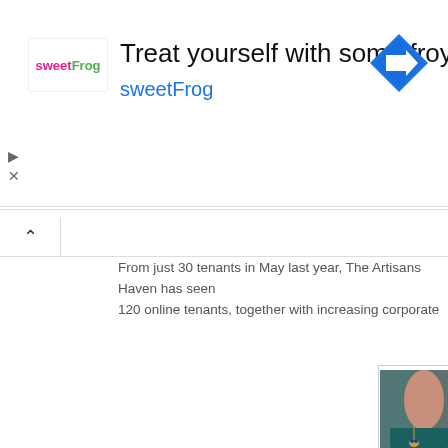[Figure (screenshot): sweetFrog advertisement banner with logo on left, 'Treat yourself with some froyo' title, 'sweetFrog' subtitle in blue, and a blue diamond navigation icon on the right]
From just 30 tenants in May last year, The Artisans Haven has seen 120 online tenants, together with increasing corporate partnerships a
[Figure (photo): A woman wearing a teal/green velvet dress and a gold heart-shaped pendant necklace with blue roses, photographed from chin to chest level against a grey-teal background]